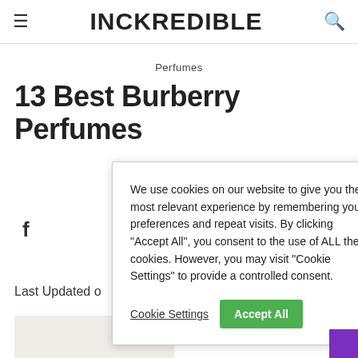INCKREDIBLE
Perfumes
13 Best Burberry Perfumes
We use cookies on our website to give you the most relevant experience by remembering your preferences and repeat visits. By clicking "Accept All", you consent to the use of ALL the cookies. However, you may visit "Cookie Settings" to provide a controlled consent.
Cookie Settings   Accept All
Last Updated o
[Figure (photo): Partial photo of Burberry perfume bottle at bottom left of page]